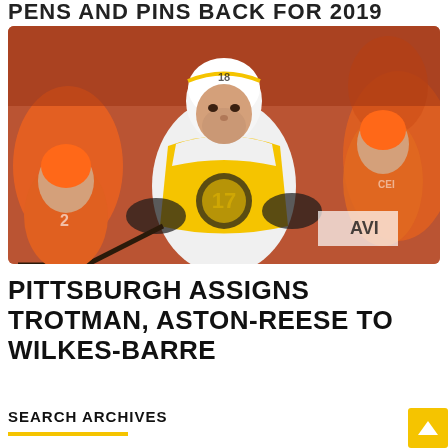PENS AND PINS BACK FOR 2019
[Figure (photo): Hockey player in Pittsburgh Penguins white and gold jersey (#17) skating on ice during a game against the Philadelphia Flyers, who are wearing orange jerseys. Players are in close contact during play.]
PITTSBURGH ASSIGNS TROTMAN, ASTON-REESE TO WILKES-BARRE
SEARCH ARCHIVES